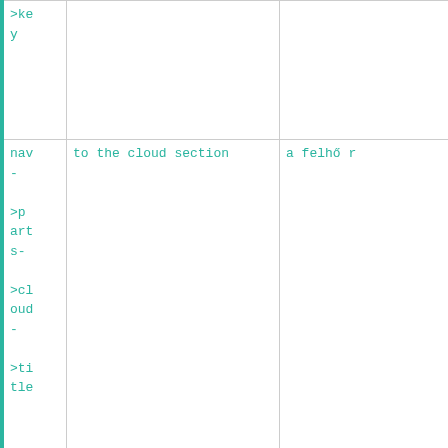| type | content | translation |
| --- | --- | --- |
| >ke
y |  |  |
| nav
-
>p
art
s-
>cl
oud
-
>ti
tle | to the cloud section | a felhő r |
| nav
-
>p
art
s- | Bulk free section | Egyéb ré |